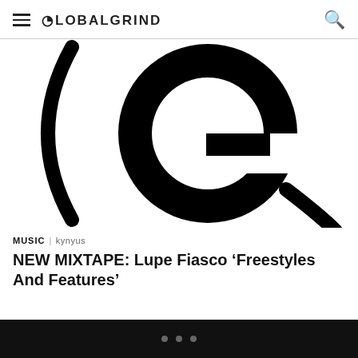GLOBALGRIND
[Figure (logo): Large black GlobalGrind 'G' logo on white background, styled bold circular letterform with cutout]
MUSIC | kynyus
NEW MIXTAPE: Lupe Fiasco ‘Freestyles And Features’